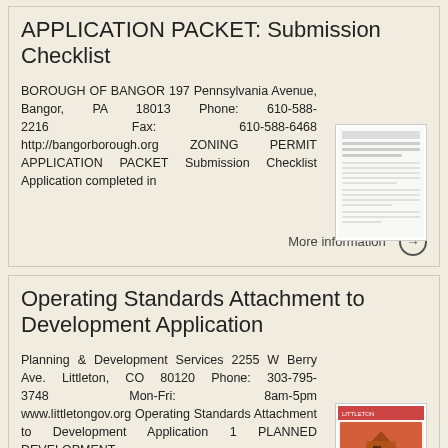APPLICATION PACKET: Submission Checklist
BOROUGH OF BANGOR 197 Pennsylvania Avenue, Bangor, PA 18013 Phone: 610-588-2216 Fax: 610-588-6468 http://bangorborough.org ZONING PERMIT APPLICATION PACKET Submission Checklist Application completed in
More information →
Operating Standards Attachment to Development Application
Planning & Development Services 2255 W Berry Ave. Littleton, CO 80120 Phone: 303-795-3748 Mon-Fri: 8am-5pm www.littletongov.org Operating Standards Attachment to Development Application 1 PLANNED DEVELOPMENT